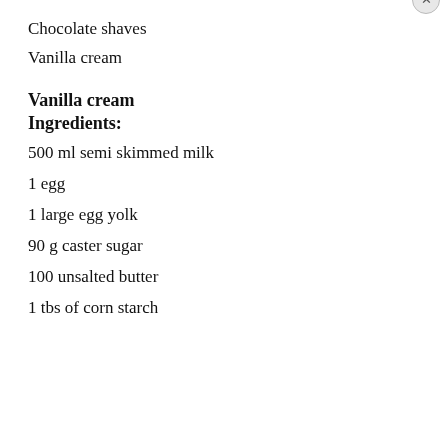Chocolate shaves
Vanilla cream
Vanilla cream
Ingredients:
500 ml semi skimmed milk
1 egg
1 large egg yolk
90 g caster sugar
100 unsalted butter
1 tbs of corn starch
Privacy & Cookies: This site uses cookies. By continuing to use this website, you agree to their use. To find out more, including how to control cookies, see here: Cookie Policy